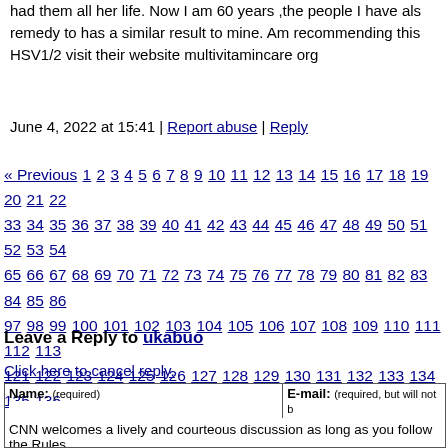had them all her life. Now I am 60 years ,the people I have also remedy to has a similar result to mine. Am recommending this HSV1/2 visit their website multivitamincare org
June 4, 2022 at 15:41 | Report abuse | Reply
« Previous 1 2 3 4 5 6 7 8 9 10 11 12 13 14 15 16 17 18 19 20 21 22 33 34 35 36 37 38 39 40 41 42 43 44 45 46 47 48 49 50 51 52 53 54 65 66 67 68 69 70 71 72 73 74 75 76 77 78 79 80 81 82 83 84 85 86 97 98 99 100 101 102 103 104 105 106 107 108 109 110 111 112 113 121 122 123 124 125 126 127 128 129 130 131 132 133 134 135 136 144 145 146 147 148 149 150 151 152 153 154 155 156 157 158 159
Leave a Reply to ukabuo
Click here to cancel reply.
Name: (required)   E-mail: (required, but will not be published)
CNN welcomes a lively and courteous discussion as long as you follow the Rules our Terms of Service. Comments are not pre-screened before they post. You are...